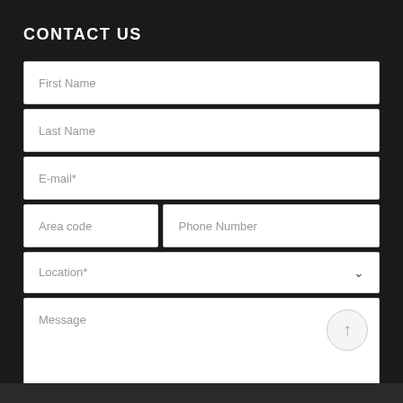CONTACT US
First Name
Last Name
E-mail*
Area code
Phone Number
Location*
Message